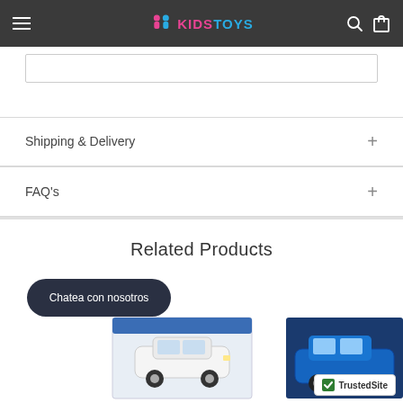KIDSTOYS
Shipping & Delivery
FAQ's
Related Products
Chatea con nosotros
[Figure (photo): White classic muscle car model in packaging box]
[Figure (photo): Blue car model partially visible on right side]
[Figure (logo): TrustedSite badge with green checkmark]